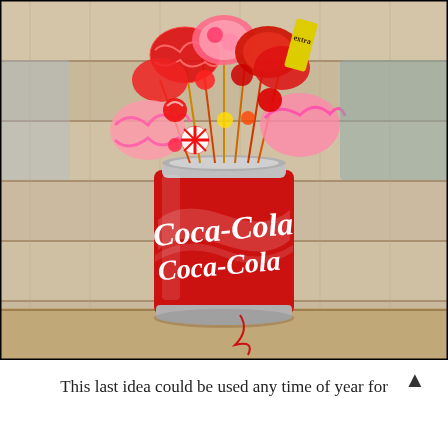[Figure (photo): A Coca-Cola can used as a vase holding a bouquet of red and pink candies, lollipops, and sweets arranged like flowers, placed on a wooden surface with a light wood plank background.]
This last idea could be used any time of year for